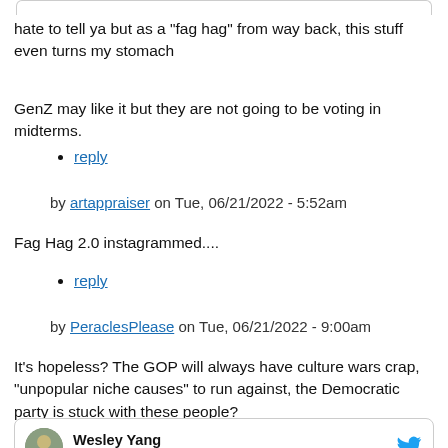hate to tell ya but as a "fag hag" from way back, this stuff even turns my stomach
GenZ may like it but they are not going to be voting in midterms.
reply
by artappraiser on Tue, 06/21/2022 - 5:52am
Fag Hag 2.0 instagrammed....
reply
by PeraclesPlease on Tue, 06/21/2022 - 9:00am
It's hopeless? The GOP will always have culture wars crap, "unpopular niche causes" to run against, the Democratic party is stuck with these people?
[Figure (screenshot): Twitter/X card showing Wesley Yang (@wesyang) with Follow link and Twitter bird logo]